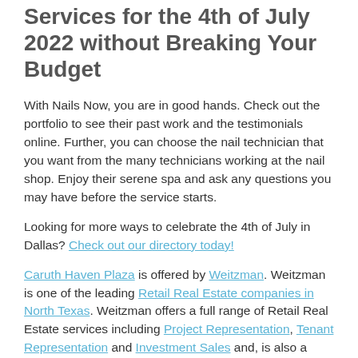Services for the 4th of July 2022 without Breaking Your Budget
With Nails Now, you are in good hands. Check out the portfolio to see their past work and the testimonials online. Further, you can choose the nail technician that you want from the many technicians working at the nail shop. Enjoy their serene spa and ask any questions you may have before the service starts.
Looking for more ways to celebrate the 4th of July in Dallas? Check out our directory today!
Caruth Haven Plaza is offered by Weitzman. Weitzman is one of the leading Retail Real Estate companies in North Texas. Weitzman offers a full range of Retail Real Estate services including Project Representation, Tenant Representation and Investment Sales and, is also a leading